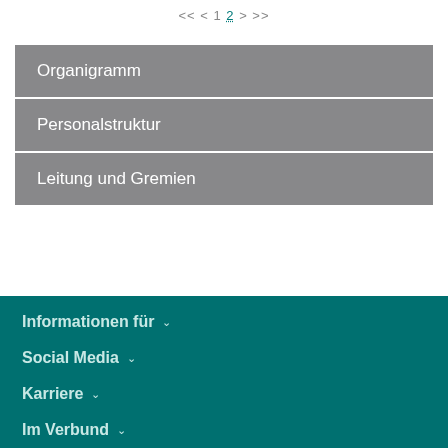<< < 1 2 > >>
Organigramm
Personalstruktur
Leitung und Gremien
Informationen für ˅
Social Media ˅
Karriere ˅
Im Verbund ˅